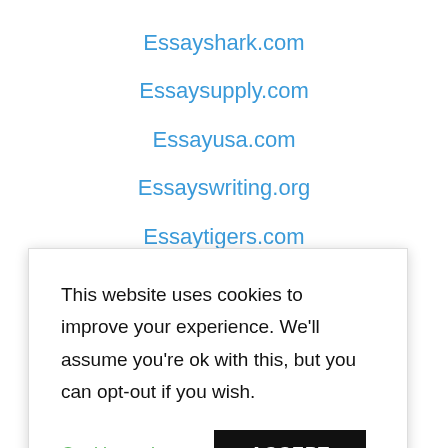Essayshark.com
Essaysupply.com
Essayusa.com
Essayswriting.org
Essaytigers.com
This website uses cookies to improve your experience. We'll assume you're ok with this, but you can opt-out if you wish.
Cookie settings
ACCEPT
Fastessay.com